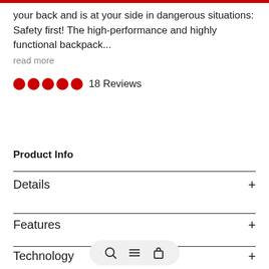your back and is at your side in dangerous situations: Safety first! The high-performance and highly functional backpack... read more
18 Reviews
Product Info
Details +
Features +
Technology +